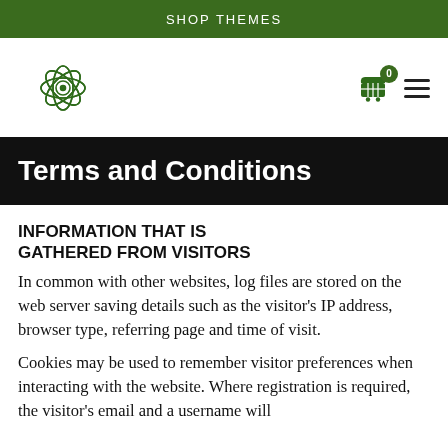SHOP THEMES
[Figure (logo): Green flower/mandala logo SVG icon]
[Figure (infographic): Shopping cart icon with green badge showing 0, and hamburger menu icon]
Terms and Conditions
INFORMATION THAT IS GATHERED FROM VISITORS
In common with other websites, log files are stored on the web server saving details such as the visitor's IP address, browser type, referring page and time of visit.
Cookies may be used to remember visitor preferences when interacting with the website. Where registration is required, the visitor's email and a username will